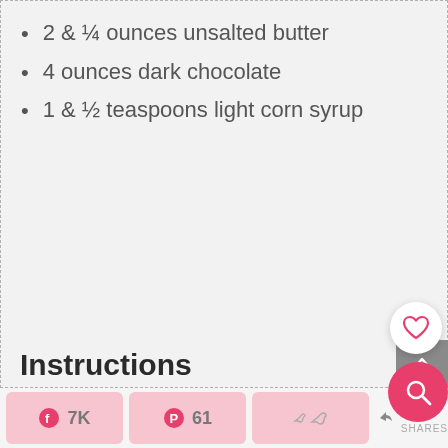2 & ¼ ounces unsalted butter
4 ounces dark chocolate
1 & ½ teaspoons light corn syrup
Instructions
[Figure (infographic): Like/favorite button with count 83, and a pink search button]
[Figure (infographic): Gray back-to-top arrow button]
7K  61  7K SHARES — social share bar with Facebook, Pinterest, Twitter buttons